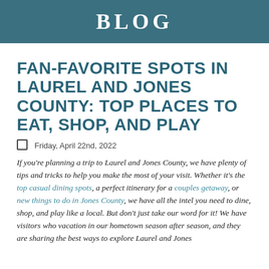BLOG
FAN-FAVORITE SPOTS IN LAUREL AND JONES COUNTY: TOP PLACES TO EAT, SHOP, AND PLAY
🗓 Friday, April 22nd, 2022
If you're planning a trip to Laurel and Jones County, we have plenty of tips and tricks to help you make the most of your visit. Whether it's the top casual dining spots, a perfect itinerary for a couples getaway, or new things to do in Jones County, we have all the intel you need to dine, shop, and play like a local. But don't just take our word for it! We have visitors who vacation in our hometown season after season, and they are sharing the best ways to explore Laurel and Jones